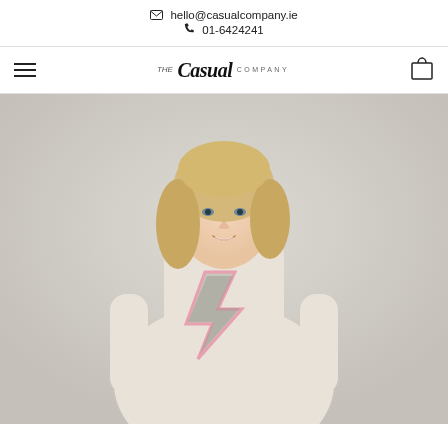✉ hello@casualcompany.ie  📞 01-6424241
[Figure (logo): The Casual Company logo with hamburger menu icon on left and shopping bag cart icon on right]
[Figure (photo): A blonde woman smiling, wearing a cream/beige sweatshirt with a sequined lightning bolt graphic on the front, photographed against a light grey/lavender background]